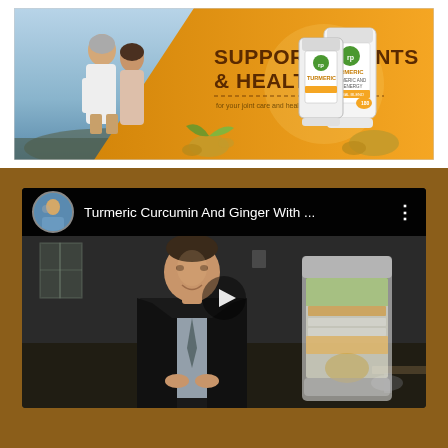[Figure (illustration): Banner advertisement for Turmeric supplement. Left side shows a couple on a beach with text 'SUPPORTS JOINTS & HEALTH'. Center shows ginger root and herbs. Right side shows two white supplement bottles labeled Turmeric. Background is orange/golden gradient.]
[Figure (screenshot): YouTube-style video thumbnail/player showing a man in a dark suit standing in an office setting. Top bar shows a circular avatar, the video title 'Turmeric Curcumin And Ginger With ...' and a three-dot menu icon. A Turmeric supplement bottle is visible in the background right. A play button triangle is centered on the video.]